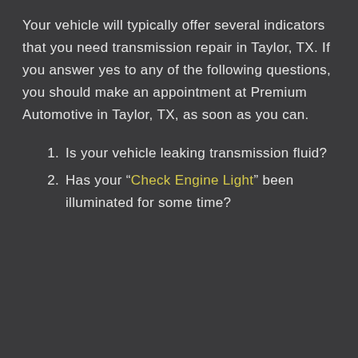Your vehicle will typically offer several indicators that you need transmission repair in Taylor, TX. If you answer yes to any of the following questions, you should make an appointment at Premium Automotive in Taylor, TX, as soon as you can.
Is your vehicle leaking transmission fluid?
Has your "Check Engine Light" been illuminated for some time?